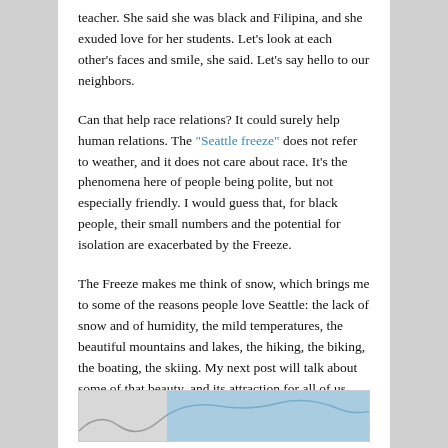teacher. She said she was black and Filipina, and she exuded love for her students. Let's look at each other's faces and smile, she said. Let's say hello to our neighbors.
Can that help race relations? It could surely help human relations. The "Seattle freeze" does not refer to weather, and it does not care about race. It's the phenomena here of people being polite, but not especially friendly. I would guess that, for black people, their small numbers and the potential for isolation are exacerbated by the Freeze.
The Freeze makes me think of snow, which brings me to some of the reasons people love Seattle: the lack of snow and of humidity, the mild temperatures, the beautiful mountains and lakes, the hiking, the biking, the boating, the skiing. My next post will talk about some of that beauty, and its attraction for all of us. What might it mean for my black daughter to be a skier and a hiker out here?
[Figure (photo): Partial image visible at bottom of page, appears to show a landscape or outdoor scene with grey and blue tones]